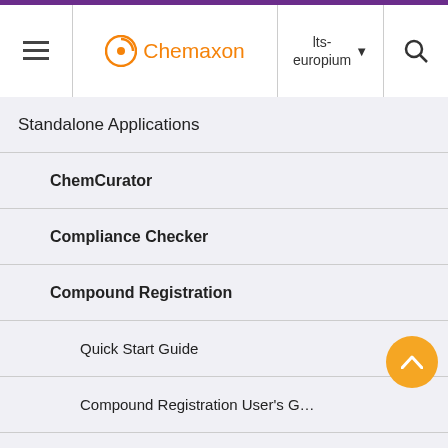Chemaxon — lts-europium
Standalone Applications
ChemCurator
Compliance Checker
Compound Registration
Quick Start Guide
Compound Registration User's G…
Configuration Guide
Administration page
Access Control
are the USER and the REGI groups: For more information on roles, visit this